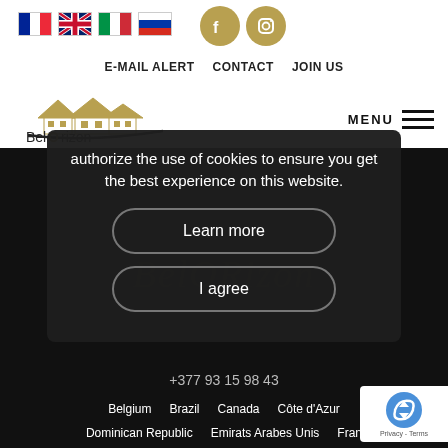BelOrizon website header with language flags, social icons, nav links (E-MAIL ALERT, CONTACT, JOIN US), logo, and MENU
authorize the use of cookies to ensure you get the best experience on this website.
Learn more
I agree
+377 93 15 98 43
Belgium   Brazil   Canada   Côte d'Azur   Dominican Republic   Emirats Arabes Unis   France   Germany   Greece   Indonesia   Italy   Luxembourg   Maroc   Mauritius Island   Monaco   Netherlands